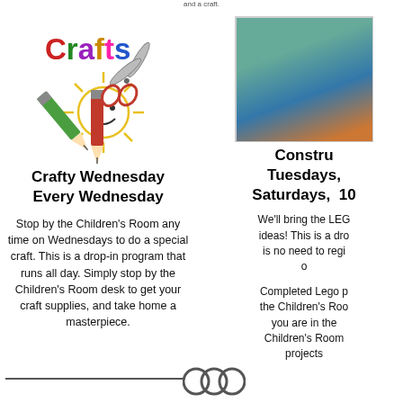[Figure (illustration): Colorful 'Crafts' logo with pencils, scissors, and a smiley sun drawing]
Crafty Wednesday
Every Wednesday
Stop by the Children's Room any time on Wednesdays to do a special craft. This is a drop-in program that runs all day. Simply stop by the Children's Room desk to get your craft supplies, and take home a masterpiece.
[Figure (photo): Photo of a LEGO construction setup in the Children's Room]
Constru
Tuesdays,
Saturdays, 10
We'll bring the LEG ideas! This is a dro is no need to regi o
Completed Lego p the Children's Roo you are in the Children's Room projects